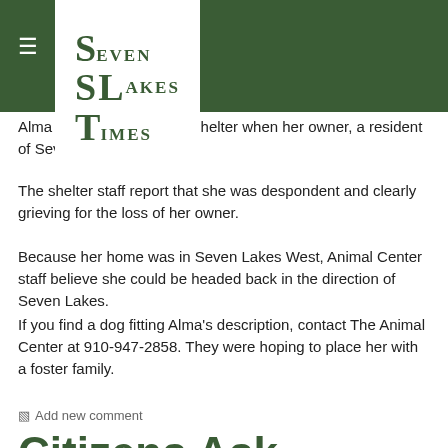Seven Lakes Times
Alma w[as brought] to the shelter when her owner, a resident of Seven [Lakes,] ied.
The shelter staff report that she was despondent and clearly grieving for the loss of her owner.
Because her home was in Seven Lakes West, Animal Center staff believe she could be headed back in the direction of Seven Lakes.
If you find a dog fitting Alma's description, contact The Animal Center at 910-947-2858. They were hoping to place her with a foster family.
Add new comment
Citizens Ask Commissioners to Make Education Top Priority